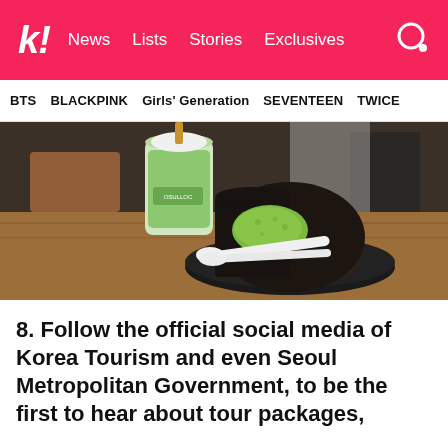k! News Lists Stories Exclusives
BTS  BLACKPINK  Girls' Generation  SEVENTEEN  TWICE
[Figure (photo): A tray with a black sesame mochi dessert dusted with green matcha powder on a dark plate with white spoons, and a green matcha drink in a cup in the background, at OSULLOC cafe.]
8. Follow the official social media of Korea Tourism and even Seoul Metropolitan Government, to be the first to hear about tour packages,